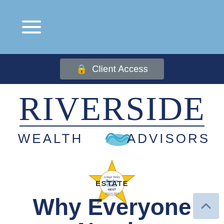Navigation bar with hamburger menu
[Figure (screenshot): Client Access button with lock icon on dark navy background]
[Figure (logo): Riverside Wealth Advisors logo with river graphic between WEALTH and ADVISORS text]
[Figure (illustration): Readers Choice award badge - gold star shaped badge with text Readers Choice Best]
ESTATE
Why Everyone Needs